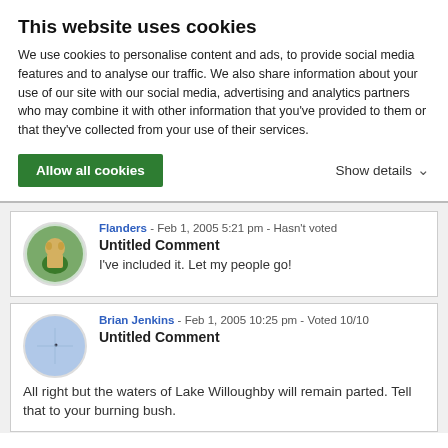This website uses cookies
We use cookies to personalise content and ads, to provide social media features and to analyse our traffic. We also share information about your use of our site with our social media, advertising and analytics partners who may combine it with other information that you've provided to them or that they've collected from your use of their services.
Allow all cookies
Show details
Flanders - Feb 1, 2005 5:21 pm - Hasn't voted
Untitled Comment
I've included it. Let my people go!
Brian Jenkins - Feb 1, 2005 10:25 pm - Voted 10/10
Untitled Comment
All right but the waters of Lake Willoughby will remain parted. Tell that to your burning bush.
Brian Jenkins - Jan 29, 2005 9:03 pm - Voted 10/10